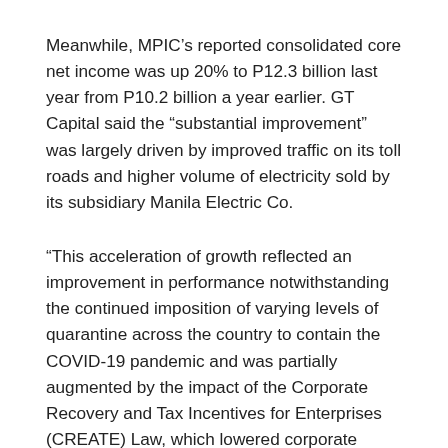Meanwhile, MPIC’s reported consolidated core net income was up 20% to P12.3 billion last year from P10.2 billion a year earlier. GT Capital said the “substantial improvement” was largely driven by improved traffic on its toll roads and higher volume of electricity sold by its subsidiary Manila Electric Co.
“This acceleration of growth reflected an improvement in performance notwithstanding the continued imposition of varying levels of quarantine across the country to contain the COVID-19 pandemic and was partially augmented by the impact of the Corporate Recovery and Tax Incentives for Enterprises (CREATE) Law, which lowered corporate income tax rates from 30% to 25%,” it added.